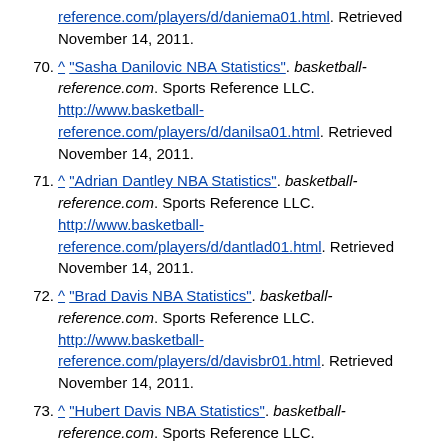continuation: reference.com/players/d/daniema01.html. Retrieved November 14, 2011.
70. ^ "Sasha Danilovic NBA Statistics". basketball-reference.com. Sports Reference LLC. http://www.basketball-reference.com/players/d/danilsa01.html. Retrieved November 14, 2011.
71. ^ "Adrian Dantley NBA Statistics". basketball-reference.com. Sports Reference LLC. http://www.basketball-reference.com/players/d/dantlad01.html. Retrieved November 14, 2011.
72. ^ "Brad Davis NBA Statistics". basketball-reference.com. Sports Reference LLC. http://www.basketball-reference.com/players/d/davisbr01.html. Retrieved November 14, 2011.
73. ^ "Hubert Davis NBA Statistics". basketball-reference.com. Sports Reference LLC. http://www.basketball-reference.com/players/d/davishu01.html. Retrieved November 14, 2011.
74. ^ "Monti Davis NBA Statistics". basketball-reference.com. Sports Reference LLC. http://www.basketball-reference.com/players/d/davismo01.html. Retrieved November 14, 2011.